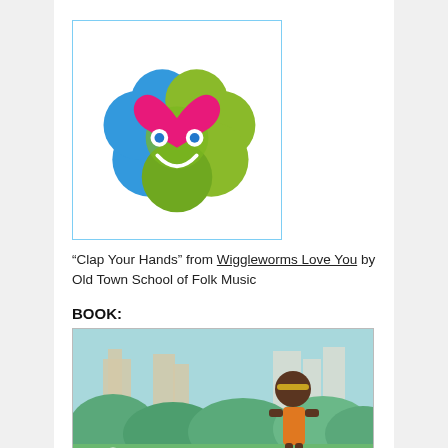[Figure (illustration): Album cover art for Wiggleworms Love You: a colorful flower-like character made of overlapping blue and green petal shapes with a large pink heart on top, white dot eyes, and a white smile. Enclosed in a light blue border.]
“Clap Your Hands” from Wiggleworms Love You by Old Town School of Folk Music
BOOK:
[Figure (illustration): Book cover illustration showing a young child with a yellow headband and orange clothes standing in a park-like setting with green bushes and a city skyline in the background, under a light blue sky.]